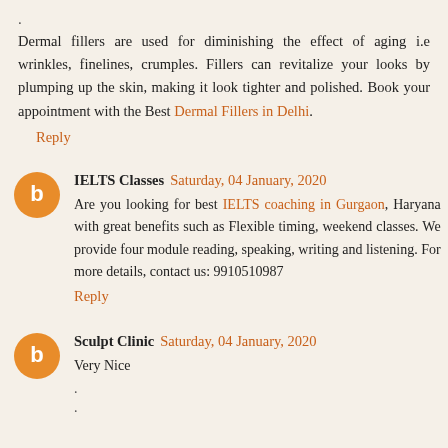.
Dermal fillers are used for diminishing the effect of aging i.e wrinkles, finelines, crumples. Fillers can revitalize your looks by plumping up the skin, making it look tighter and polished. Book your appointment with the Best Dermal Fillers in Delhi.
Reply
IELTS Classes  Saturday, 04 January, 2020
Are you looking for best IELTS coaching in Gurgaon, Haryana with great benefits such as Flexible timing, weekend classes. We provide four module reading, speaking, writing and listening. For more details, contact us: 9910510987
Reply
Sculpt Clinic  Saturday, 04 January, 2020
Very Nice
.
.